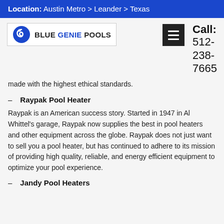Location: Austin Metro > Leander > Texas
[Figure (logo): Blue Genie Pools logo with swirl icon]
Call: 512-238-7665
made with the highest ethical standards.
– Raypak Pool Heater
Raypak is an American success story. Started in 1947 in Al Whittel's garage, Raypak now supplies the best in pool heaters and other equipment across the globe. Raypak does not just want to sell you a pool heater, but has continued to adhere to its mission of providing high quality, reliable, and energy efficient equipment to optimize your pool experience.
– Jandy Pool Heaters